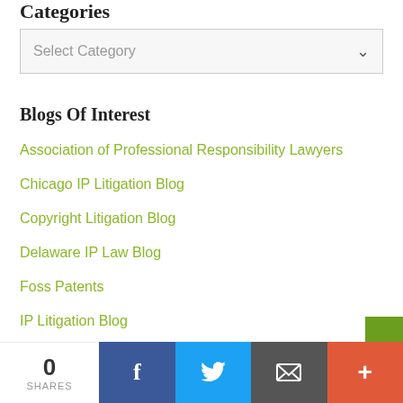Categories
Select Category
Blogs Of Interest
Association of Professional Responsibility Lawyers
Chicago IP Litigation Blog
Copyright Litigation Blog
Delaware IP Law Blog
Foss Patents
IP Litigation Blog
IP Watchdog
Law Firm Risk Management Blog
0 SHARES  [Facebook] [Twitter] [Email] [More]